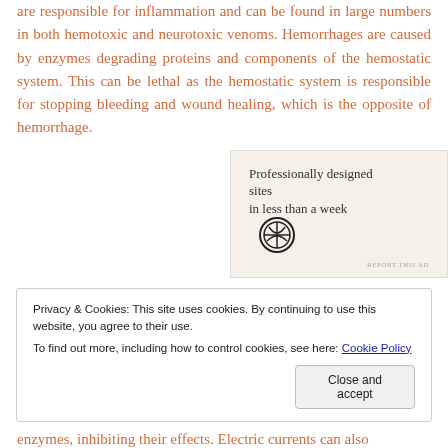are responsible for inflammation and can be found in large numbers in both hemotoxic and neurotoxic venoms. Hemorrhages are caused by enzymes degrading proteins and components of the hemostatic system. This can be lethal as the hemostatic system is responsible for stopping bleeding and wound healing, which is the opposite of hemorrhage.
[Figure (other): Advertisement banner: 'Professionally designed sites in less than a week' with WordPress logo. 'REPORT THIS AD' text at bottom right.]
Privacy & Cookies: This site uses cookies. By continuing to use this website, you agree to their use.
To find out more, including how to control cookies, see here: Cookie Policy
[Close and accept button]
enzymes, inhibiting their effects. Electric currents can also